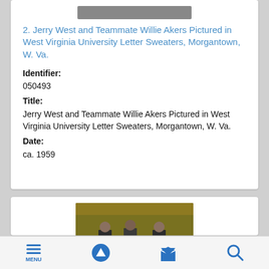[Figure (photo): Blurred/redacted thumbnail image at top of first card]
2. Jerry West and Teammate Willie Akers Pictured in West Virginia University Letter Sweaters, Morgantown, W. Va.
Identifier:
050493
Title:
Jerry West and Teammate Willie Akers Pictured in West Virginia University Letter Sweaters, Morgantown, W. Va.
Date:
ca. 1959
[Figure (photo): Black and white photo showing people standing in an arena/basketball court holding framed items, crowd visible in background]